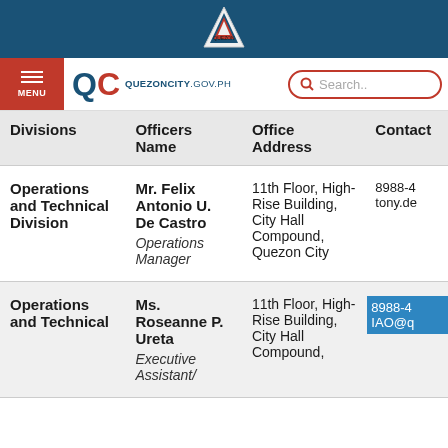Quezon City Government website header with logo
[Figure (logo): Quezon City government seal/logo triangle]
QC QUEZONCITY.GOV.PH | MENU | Search
| Divisions | Officers Name | Office Address | Contact |
| --- | --- | --- | --- |
| Operations and Technical Division | Mr. Felix Antonio U. De Castro
Operations Manager | 11th Floor, High-Rise Building, City Hall Compound, Quezon City | 8988-4...
tony.de... |
| Operations and Technical Division | Ms. Roseanne P. Ureta
Executive Assistant/ | 11th Floor, High-Rise Building, City Hall Compound, | 8988-4...
IAO@q... |